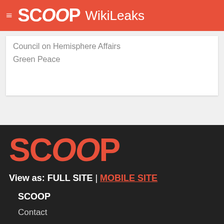SCOOP WikiLeaks
Council on Hemisphere Affairs
Green Peace
[Figure (logo): SCOOP logo in orange/red on dark background]
View as: FULL SITE | MOBILE SITE
SCOOP
Contact
About
Submit News